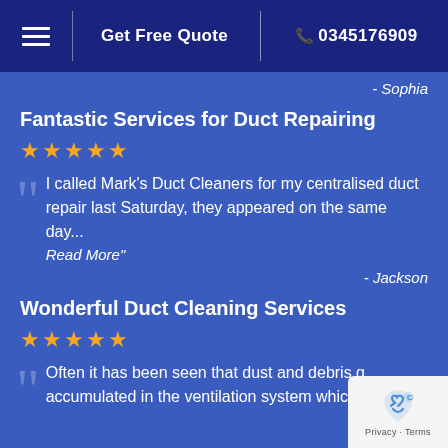Get Free Quote | 0345176909
- Sophia
Fantastic Services for Duct Repairing
★★★★★
I called Mark's Duct Cleaners for my centralised duct repair last Saturday, they appeared on the same day... Read More"
- Jackson
Wonderful Duct Cleaning Services
★★★★★
Often it has been seen that dust and debris get accumulated in the ventilation system which results